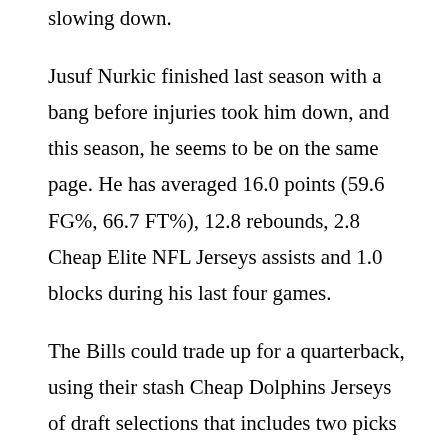slowing down.
Jusuf Nurkic finished last season with a bang before injuries took him down, and this season, he seems to be on the same page. He has averaged 16.0 points (59.6 FG%, 66.7 FT%), 12.8 rebounds, 2.8 Cheap Elite NFL Jerseys assists and 1.0 blocks during his last four games.
The Bills could trade up for a quarterback, using their stash Cheap Dolphins Jerseys of draft selections that includes two picks in each of the first three rounds. Or, they could select one at their original spots in